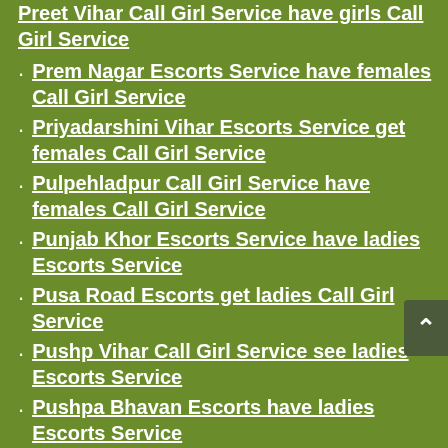Preet Vihar Call Girl Service have girls Call Girl Service
Prem Nagar Escorts Service have females Call Girl Service
Priyadarshini Vihar Escorts Service get females Call Girl Service
Pulpehladpur Call Girl Service have females Call Girl Service
Punjab Khor Escorts Service have ladies Escorts Service
Pusa Road Escorts get ladies Call Girl Service
Pushp Vihar Call Girl Service see ladies Escorts Service
Pushpa Bhavan Escorts have ladies Escorts Service
Quazipur Escorts Service see girls Call Girl Service
Qutab Institutional Area Call Girls see ladies Escorts Service
Qutabagarh Call Girl Service get females Escorts Service
R K Puram Escorts Service have ladies Escorts Service